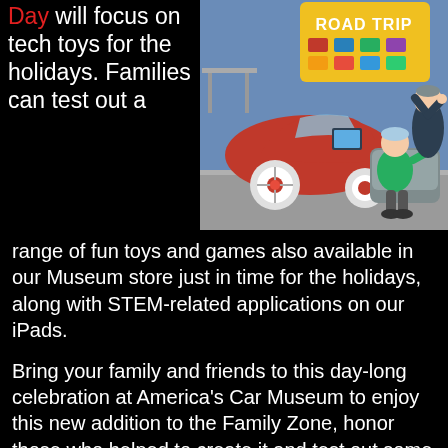Day will focus on tech toys for the holidays. Families can test out a range of fun toys and games also available in our Museum store just in time for the holidays, along with STEM-related applications on our iPads.
[Figure (illustration): Animated illustration of a red car in a museum exhibit called 'Road Trip', with two cartoon figures seated in front of a screen inside the car display area.]
Bring your family and friends to this day-long celebration at America's Car Museum to enjoy this new addition to the Family Zone, honor those who helped to create it and test out some tech toys for the holidays. In addition, don't forget to get a FREE photo with Santa!
Join ACM for these family-friendly events on Saturday